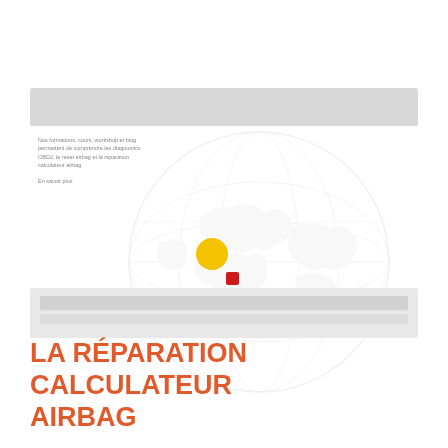Nos formations, cours, workshop et blog permettent de comprendre les diagnostics OBD2, le reset airbag et la réparation calculateur airbag.
[Figure (screenshot): Screenshot of a website showing a world map with markers. A large yellow circle marker and a smaller red square marker are visible on the map.]
[Figure (screenshot): Bottom navigation/footer bar of the website]
LA RÉPARATION CALCULATEUR AIRBAG